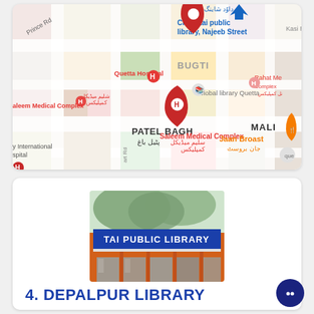[Figure (map): Google Maps screenshot showing area around Patel Bagh in Quetta, Pakistan. Shows landmarks including Chughtai public library on Najeeb Street, Saleem Medical Complex, Quetta Hospital, Global library Quetta, Jaan Broast restaurant, BUGTI and MALI neighborhoods labeled.]
[Figure (photo): Photograph of a public library building exterior. Shows a blue sign reading 'TAI PUBLIC LIBRARY' (partial, likely Chughtai Public Library). Orange/red pillars and glass facade visible. Trees and sky visible in background.]
4. DEPALPUR LIBRARY